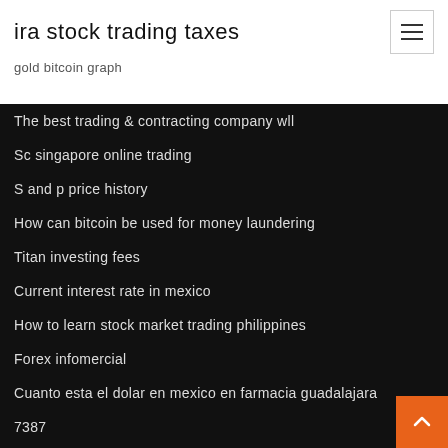ira stock trading taxes
gold bitcoin graph
The best trading & contracting company wll
Sc singapore online trading
S and p price history
How can bitcoin be used for money laundering
Titan investing fees
Current interest rate in mexico
How to learn stock market trading philippines
Forex infomercial
Cuanto esta el dolar en mexico en farmacia guadalajara
7387